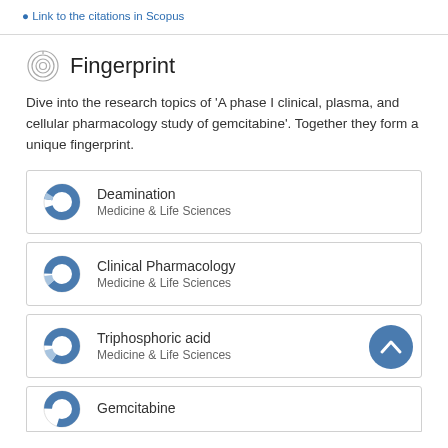Link to the citations in Scopus
Fingerprint
Dive into the research topics of 'A phase I clinical, plasma, and cellular pharmacology study of gemcitabine'. Together they form a unique fingerprint.
Deamination
Medicine & Life Sciences
Clinical Pharmacology
Medicine & Life Sciences
Triphosphoric acid
Medicine & Life Sciences
Gemcitabine